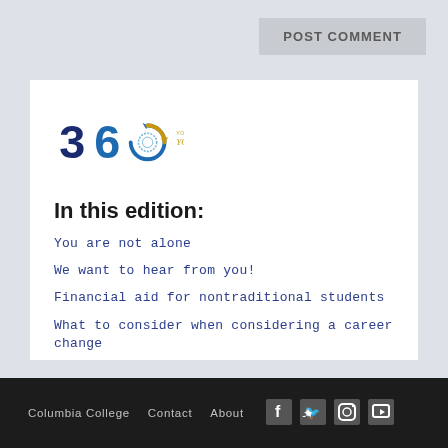POST COMMENT
[Figure (logo): 360 Columbia College logo with '360' numerals in blue and orange/gold, circular arrow motif, tagline 'YOUR JOURNEY. YOUR WORLD. YOUR Columbia College.']
In this edition:
You are not alone
We want to hear from you!
Financial aid for nontraditional students
What to consider when considering a career change
Columbia College   Contact   About   [Facebook] [Twitter] [Instagram] [YouTube]